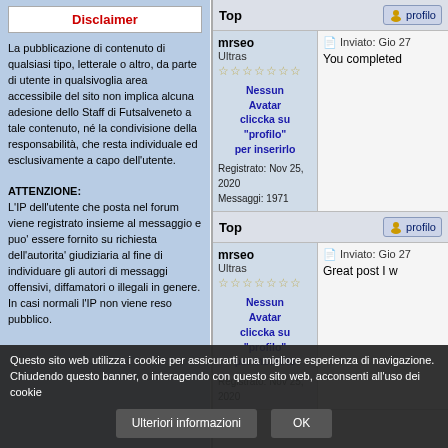Disclaimer
La pubblicazione di contenuto di qualsiasi tipo, letterale o altro, da parte di utente in qualsivoglia area accessibile del sito non implica alcuna adesione dello Staff di Futsalveneto a tale contenuto, né la condivisione della responsabilità, che resta individuale ed esclusivamente a capo dell'utente.

ATTENZIONE:
L'IP dell'utente che posta nel forum viene registrato insieme al messaggio e puo' essere fornito su richiesta dell'autorita' giudiziaria al fine di individuare gli autori di messaggi offensivi, diffamatori o illegali in genere. In casi normali l'IP non viene reso pubblico.
Top
mrseo
Ultras
Registrato: Nov 25, 2020
Messaggi: 1971
Inviato: Gio 27
You completed
Top
mrseo
Ultras
Registrato: Nov 25, 2020
Inviato: Gio 27
Great post I w
Questo sito web utilizza i cookie per assicurarti una migliore esperienza di navigazione.
Chiudendo questo banner, o interagendo con questo sito web, acconsenti all'uso dei cookie
Ulteriori informazioni
OK